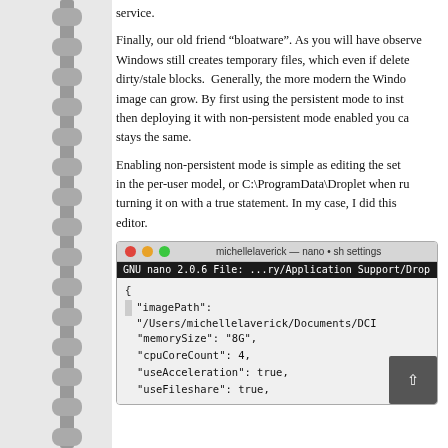service.
Finally, our old friend “bloatware”. As you will have observed, Windows still creates temporary files, which even if deleted leave dirty/stale blocks.  Generally, the more modern the Windows image can grow. By first using the persistent mode to install, then deploying it with non-persistent mode enabled you can stays the same.
Enabling non-persistent mode is simple as editing the settings in the per-user model, or C:\ProgramData\Droplet when run, turning it on with a true statement. In my case, I did this on editor.
[Figure (screenshot): Terminal screenshot showing GNU nano 2.0.6 editor open on a JSON settings file. The titlebar shows 'michellelaverick — nano • sh settings'. The file content shows JSON with keys: imagePath, memorySize (8G), cpuCoreCount (4), useAcceleration (true), useFileshare (true).]